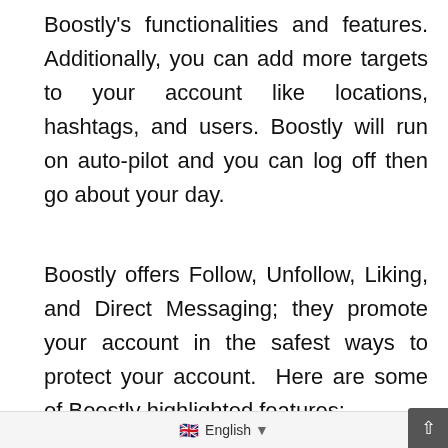Boostly's functionalities and features. Additionally, you can add more targets to your account like locations, hashtags, and users. Boostly will run on auto-pilot and you can log off then go about your day.
Boostly offers Follow, Unfollow, Liking, and Direct Messaging; they promote your account in the safest ways to protect your account. Here are some of Boostly highlighted features:
1. Keep Your Feed Clean By Muting New Followers
🇬🇧 English